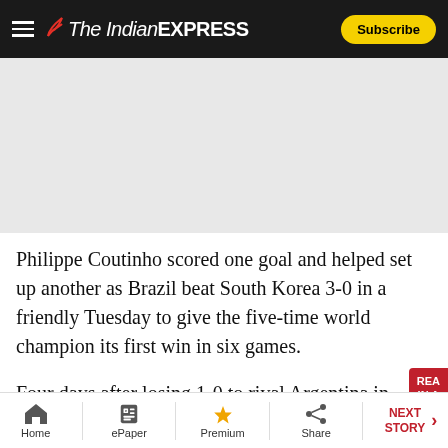The Indian Express — Subscribe
[Figure (other): Advertisement placeholder area — light grey rectangle]
Philippe Coutinho scored one goal and helped set up another as Brazil beat South Korea 3-0 in a friendly Tuesday to give the five-time world champion its first win in six games.
Four days after losing 1-0 to rival Argentina in Riyadh, Coutinho started the move that gave Brazil the lead in the ninth minute at the Mohamed Bin Zayed Stadium
Home  ePaper  Premium  Share  NEXT STORY